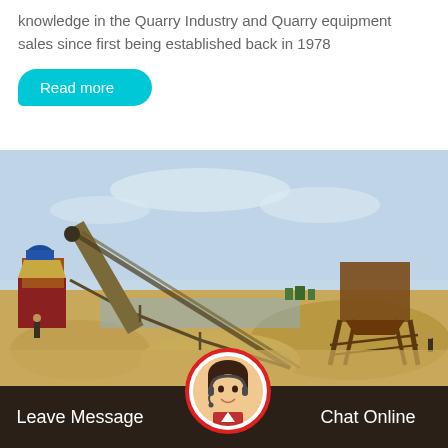knowledge in the Quarry Industry and Quarry equipment sales since first being established back in 1978
Read more
[Figure (photo): Outdoor quarry site with a long conveyor belt system connecting machinery on the left to a large hopper/bin structure on the right, with sand/gravel piles and workers visible in the foreground, under a hazy sky.]
Leave Message
Chat Online